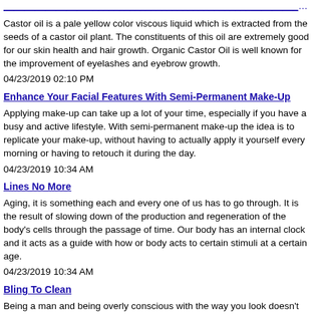Castor oil is a pale yellow color viscous liquid which is extracted from the seeds of a castor oil plant. The constituents of this oil are extremely good for our skin health and hair growth. Organic Castor Oil is well known for the improvement of eyelashes and eyebrow growth.
04/23/2019 02:10 PM
Enhance Your Facial Features With Semi-Permanent Make-Up
Applying make-up can take up a lot of your time, especially if you have a busy and active lifestyle. With semi-permanent make-up the idea is to replicate your make-up, without having to actually apply it yourself every morning or having to retouch it during the day.
04/23/2019 10:34 AM
Lines No More
Aging, it is something each and every one of us has to go through. It is the result of slowing down of the production and regeneration of the body's cells through the passage of time. Our body has an internal clock and it acts as a guide with how or body acts to certain stimuli at a certain age.
04/23/2019 10:34 AM
Bling To Clean
Being a man and being overly conscious with the way you look doesn't really go hand in hand. Skin concerns usually connote vanity and might even be considered a little too feminine for a guy, but here I am. A man who just wants to be able to maintain the appearance of my skin especially on my face.
04/23/2019 10:34 AM
Diamonds Are Everyone's Best Friend